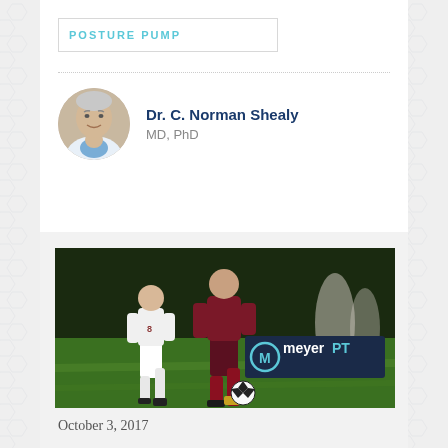POSTURE PUMP
Dr. C. Norman Shealy
MD, PhD
[Figure (photo): Soccer players competing on a grass field at night; one player in dark maroon uniform dribbling past a player in white uniform, with a soccer ball. MeyerPT logo overlay in bottom right corner of image.]
October 3, 2017